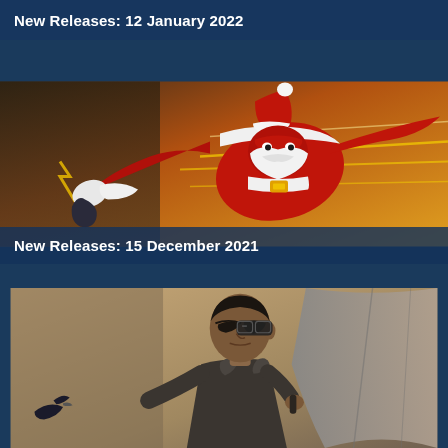New Releases: 12 January 2022
[Figure (illustration): Comic book cover illustration showing a superhero dressed as Santa Claus in red suit with white trim and mask, flying or leaping forward with speed lines in the background]
New Releases: 15 December 2021
[Figure (illustration): Comic book cover illustration showing a young Black man with an eye patch wearing a jacket, holding something, rendered in muted brown and grey tones]